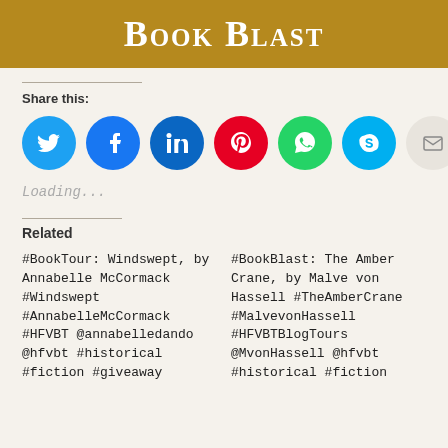Book Blast
Share this:
[Figure (infographic): Row of social share icon buttons: Twitter (blue), Facebook (blue), LinkedIn (blue), Pinterest (red), WhatsApp (green), Skype (light blue), Email (light gray)]
Loading...
Related
#BookTour: Windswept, by Annabelle McCormack #Windswept #AnnabelleMcCormack #HFVBT @annabelledando @hfvbt #historical #fiction #giveaway
#BookBlast: The Amber Crane, by Malve von Hassell #TheAmberCrane #MalvevonHassell #HFVBTBlogTours @MvonHassell @hfvbt #historical #fiction